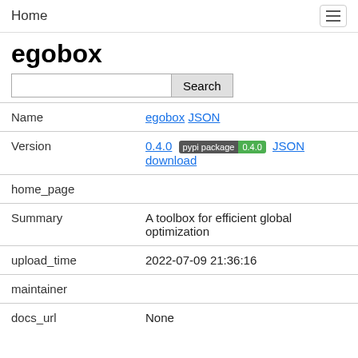Home
egobox
| Field | Value |
| --- | --- |
| Name | egobox JSON |
| Version | 0.4.0  pypi package 0.4.0  JSON
download |
| home_page |  |
| Summary | A toolbox for efficient global optimization |
| upload_time | 2022-07-09 21:36:16 |
| maintainer |  |
| docs_url | None |